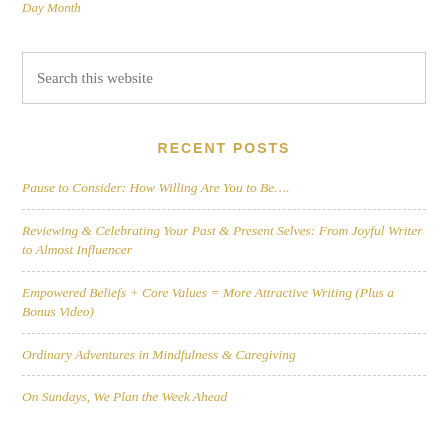Day Month
Search this website
RECENT POSTS
Pause to Consider: How Willing Are You to Be….
Reviewing & Celebrating Your Past & Present Selves: From Joyful Writer to Almost Influencer
Empowered Beliefs + Core Values = More Attractive Writing (Plus a Bonus Video)
Ordinary Adventures in Mindfulness & Caregiving
On Sundays, We Plan the Week Ahead